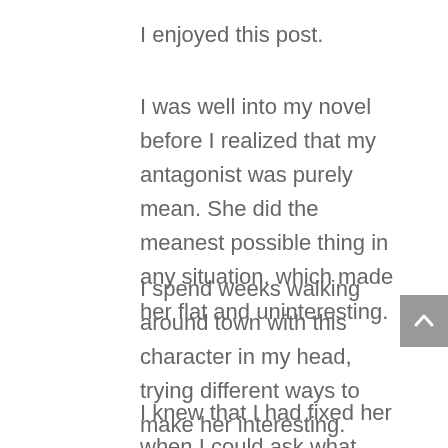I enjoyed this post.
I was well into my novel before I realized that my antagonist was purely mean. She did the meanest possible thing in any situation, which made her flat and uninteresting.
I spend weeks walking around town with this character in my head, trying different ways to make her interesting.
I knew that I had fixed her when I could ask what she would do in specific situations, and the answer